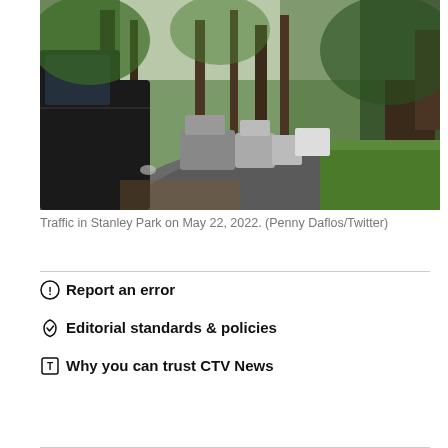[Figure (photo): Photo of traffic on a narrow forested road in Stanley Park, with cars lined up beside tall conifers and lush green vegetation.]
Traffic in Stanley Park on May 22, 2022. (Penny Daflos/Twitter)
Report an error
Editorial standards & policies
Why you can trust CTV News